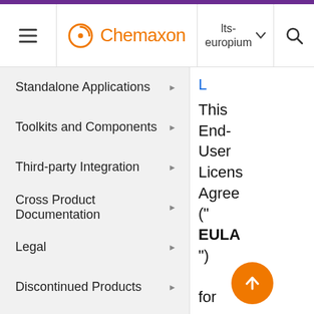Chemaxon | lts-europium
Standalone Applications
Toolkits and Components
Third-party Integration
Cross Product Documentation
Legal
Discontinued Products
This End-User License Agreement ("EULA") for Chemaxon softwa...